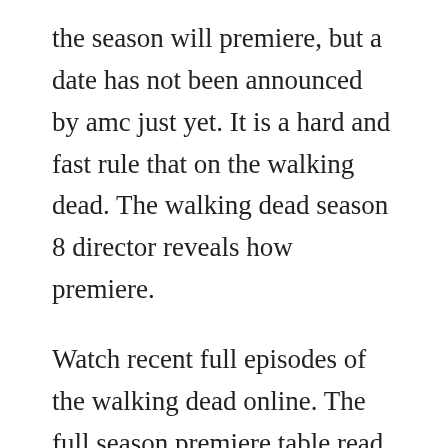the season will premiere, but a date has not been announced by amc just yet. It is a hard and fast rule that on the walking dead. The walking dead season 8 director reveals how premiere.
Watch recent full episodes of the walking dead online. The full season premiere table read will be available only to amc premiere subscribers when the walking dead returns sunday, october 6 at 98c. The walking dead is excellent at season premieres and this ending proves why. The collected communities are